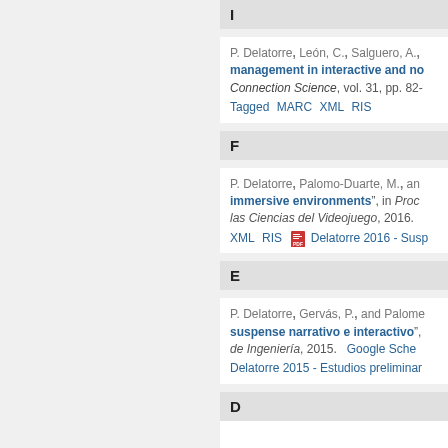I
P. Delatorre, León, C., Salguero, A., management in interactive and no... Connection Science, vol. 31, pp. 82-... Tagged MARC XML RIS
F
P. Delatorre, Palomo-Duarte, M., an... immersive environments", in Proc... las Ciencias del Videojuego, 2016. XML RIS Delatorre 2016 - Susp...
E
P. Delatorre, Gervás, P., and Palome... suspense narrativo e interactivo",... de Ingeniería, 2015. Google Sche... Delatorre 2015 - Estudios preliminar...
D